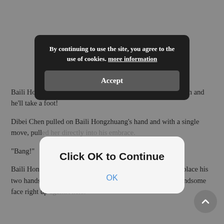Baili Hongzhuang returned the look. It was really give an inch and he'll take a foot!
Dibei Chen pulled on Baili Hongzhuang's hand and with a single move, pulled her directly into his embrace.
“Bang!”
Baili Hongzhuang's back was against the wall. Dibei Chen place his two hands against the wall on both sides of her body, his handsome face right up against hers.
[Figure (screenshot): Dark cookie consent banner overlay with text 'By continuing to use the site, you agree to the use of cookies. more information' and an Accept button]
[Figure (screenshot): White modal dialog with bold title 'Click OK to Continue' and a blue OK button]
"Wifey, if you say such things, Hubby would really be heartbroken."
His deep black eyes glittered with seductiveness, yet hid a trace of sadness. His words also held a trace of loneliness.
Although she knew this guy was faking this sadness and loneliness, she really had to say that this guy’s acting was very realistic!